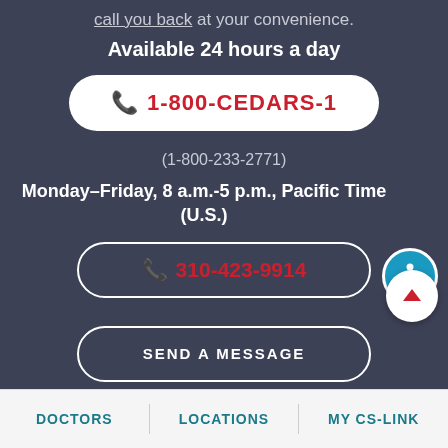call you back at your convenience.
Available 24 hours a day
1-800-CEDARS-1
(1-800-233-2771)
Monday–Friday, 8 a.m.-5 p.m., Pacific Time (U.S.)
310-423-9914
SEND A MESSAGE
DOCTORS   LOCATIONS   MY CS-LINK